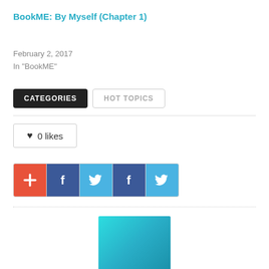BookME: By Myself (Chapter 1)
February 2, 2017
In "BookME"
CATEGORIES  HOT TOPICS
0 likes
[Figure (infographic): Social sharing buttons row: plus/add button (red/orange), Facebook button (dark blue), Twitter button (light blue), Facebook button (dark blue), Twitter button (light blue)]
[Figure (illustration): Teal/cyan gradient square block at bottom center of page]